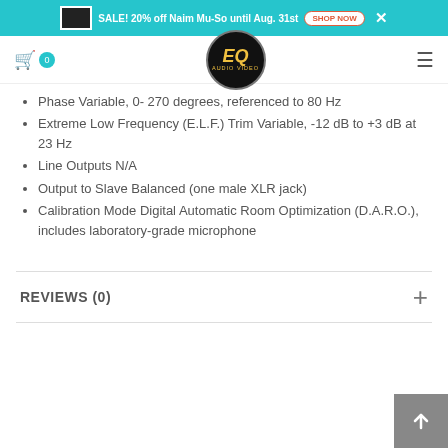SALE! 20% off Naim Mu-So until Aug. 31st SHOP NOW
[Figure (logo): EQ Audio Video circular logo in black with gold text]
Phase Variable, 0- 270 degrees, referenced to 80 Hz
Extreme Low Frequency (E.L.F.) Trim Variable, -12 dB to +3 dB at 23 Hz
Line Outputs N/A
Output to Slave Balanced (one male XLR jack)
Calibration Mode Digital Automatic Room Optimization (D.A.R.O.), includes laboratory-grade microphone
REVIEWS (0)